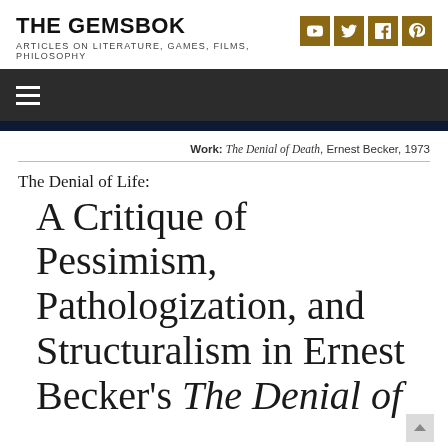THE GEMSBOK
ARTICLES ON LITERATURE, GAMES, FILMS, PHILOSOPHY
Work: The Denial of Death, Ernest Becker, 1973
The Denial of Life:
A Critique of Pessimism, Pathologization, and Structuralism in Ernest Becker's The Denial of